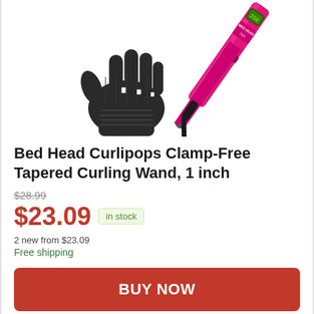[Figure (photo): Product photo showing a black knit glove on the left and a hot pink Bed Head Curlipops curling wand on the right, against a white background.]
Bed Head Curlipops Clamp-Free Tapered Curling Wand, 1 inch
$28.99 (strikethrough original price)
$23.09 in stock
2 new from $23.09
Free shipping
BUY NOW